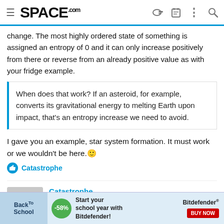SPACE.com
change. The most highly ordered state of something is assigned an entropy of 0 and it can only increase positively from there or reverse from an already positive value as with your fridge example.
When does that work? If an asteroid, for example, converts its gravitational energy to melting Earth upon impact, that's an entropy increase we need to avoid.
I gave you an example, star system formation. It must work or we wouldn't be here. 🙂
Catastrophe
Catastrophe
"There never was a good war, or a bad peace."
Feb 18, 2020   5,329   3,128   17,570
[Figure (screenshot): Bitdefender Back to School advertisement banner with -58% discount badge]